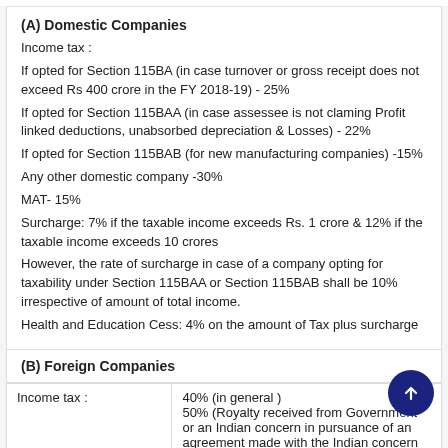(A) Domestic Companies
Income tax :
If opted for Section 115BA (in case turnover or gross receipt does not exceed Rs 400 crore in the FY 2018-19) - 25%
If opted for Section 115BAA (in case assessee is not claming Profit linked deductions, unabsorbed depreciation & Losses) - 22%
If opted for Section 115BAB (for new manufacturing companies) -15%
Any other domestic company -30%
MAT- 15%
Surcharge: 7% if the taxable income exceeds Rs. 1 crore & 12% if the taxable income exceeds 10 crores
However, the rate of surcharge in case of a company opting for taxability under Section 115BAA or Section 115BAB shall be 10% irrespective of amount of total income.
Health and Education Cess: 4% on the amount of Tax plus surcharge
(B) Foreign Companies
|  |  |
| --- | --- |
| Income tax : | 40% (in general )
50% (Royalty received from Government or an Indian concern in pursuance of an agreement made with the Indian concern after March 31, 1961, but before April 1, 1976, or fees for rendering technical services in pursuance of an agreement |